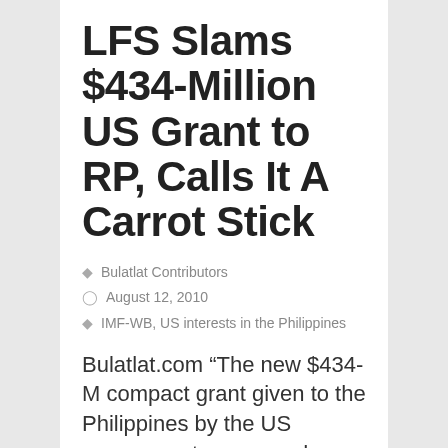LFS Slams $434-Million US Grant to RP, Calls It A Carrot Stick
Bulatlat Contributors
August 12, 2010
IMF-WB, US interests in the Philippines
Bulatlat.com “The new $434-M compact grant given to the Philippines by the US government-sponsored Millennium Change Corporation (MCC) is nothing